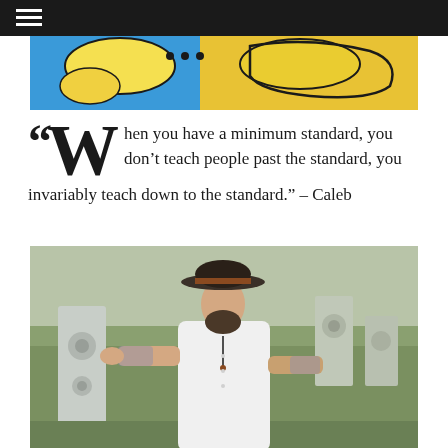[Figure (photo): Partial view of a colorful comic-style illustration with yellow and blue background]
“When you have a minimum standard, you don’t teach people past the standard, you invariably teach down to the standard.” – Caleb
[Figure (photo): A bearded man wearing a wide-brimmed hat and white long-sleeve shirt stands among shooting targets on an outdoor range, touching one of the steel targets.]